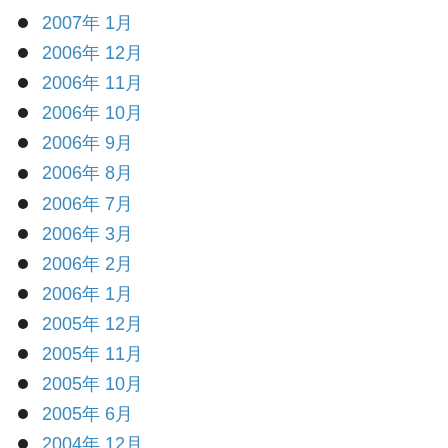2007年 1月
2006年 12月
2006年 11月
2006年 10月
2006年 9月
2006年 8月
2006年 7月
2006年 3月
2006年 2月
2006年 1月
2005年 12月
2005年 11月
2005年 10月
2005年 6月
2004年 12月
2004年 11月